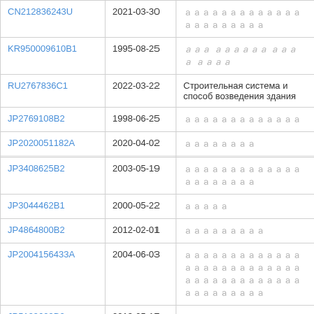| CN212836243U | 2021-03-30 | （CJK characters） |
| KR950009610B1 | 1995-08-25 | （Korean characters） |
| RU2767836C1 | 2022-03-22 | Строительная система и способ возведения здания |
| JP2769108B2 | 1998-06-25 | （CJK characters） |
| JP2020051182A | 2020-04-02 | （CJK characters） |
| JP3408625B2 | 2003-05-19 | （CJK characters） |
| JP3044462B1 | 2000-05-22 | （CJK characters） |
| JP4864800B2 | 2012-02-01 | （CJK characters） |
| JP2004156433A | 2004-06-03 | （CJK characters） |
| JP5199609B2 | 2013-05-15 | （CJK characters） |
| RU161377U1 | 2016-04-20 | Деревянная бескаркасная панель |